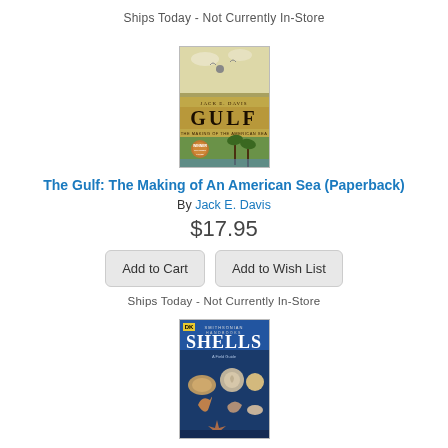Ships Today - Not Currently In-Store
[Figure (photo): Book cover of 'Gulf: The Making of the American Sea' by Jack E. Davis, showing vintage-style illustration with birds, animals, and palm trees]
The Gulf: The Making of An American Sea (Paperback)
By Jack E. Davis
$17.95
Add to Cart
Add to Wish List
Ships Today - Not Currently In-Store
[Figure (photo): Book cover of 'Shells' from Smithsonian Handbooks series (DK), showing various shells on dark blue background]